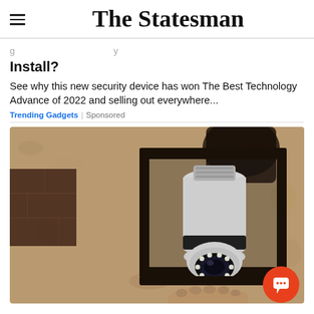The Statesman
Install?
See why this new security device has won The Best Technology Advance of 2022 and selling out everywhere...
Trending Gadgets | Sponsored
[Figure (photo): A security camera shaped like a light bulb screwed into an outdoor lantern-style wall fixture, installed on a textured stucco wall. A hand is seen holding the device from below. An orange chat/support button appears in the lower right corner.]